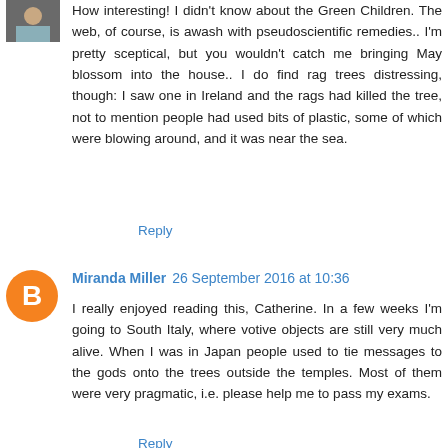[Figure (photo): Small avatar photo, partially visible, showing a person]
How interesting! I didn't know about the Green Children. The web, of course, is awash with pseudoscientific remedies.. I'm pretty sceptical, but you wouldn't catch me bringing May blossom into the house.. I do find rag trees distressing, though: I saw one in Ireland and the rags had killed the tree, not to mention people had used bits of plastic, some of which were blowing around, and it was near the sea.
Reply
[Figure (illustration): Orange circular avatar with white blogger 'B' icon]
Miranda Miller 26 September 2016 at 10:36
I really enjoyed reading this, Catherine. In a few weeks I'm going to South Italy, where votive objects are still very much alive. When I was in Japan people used to tie messages to the gods onto the trees outside the temples. Most of them were very pragmatic, i.e. please help me to pass my exams.
Reply